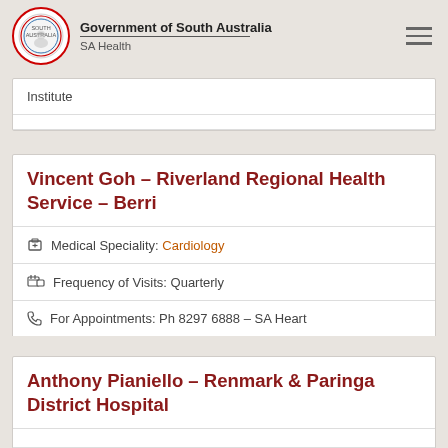Government of South Australia – SA Health
Institute
Vincent Goh – Riverland Regional Health Service – Berri
Medical Speciality: Cardiology
Frequency of Visits: Quarterly
For Appointments: Ph 8297 6888 – SA Heart
Anthony Pianiello – Renmark & Paringa District Hospital